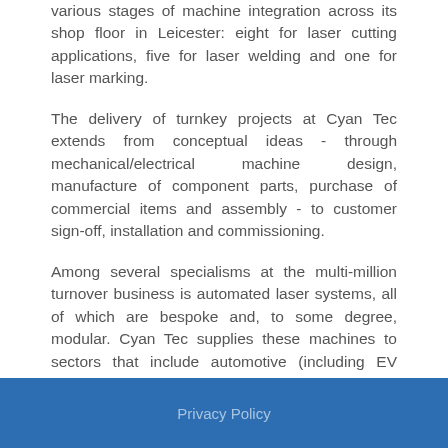various stages of machine integration across its shop floor in Leicester: eight for laser cutting applications, five for laser welding and one for laser marking.
The delivery of turnkey projects at Cyan Tec extends from conceptual ideas - through mechanical/electrical machine design, manufacture of component parts, purchase of commercial items and assembly - to customer sign-off, installation and commissioning.
Among several specialisms at the multi-million turnover business is automated laser systems, all of which are bespoke and, to some degree, modular. Cyan Tec supplies these machines to sectors that include automotive (including EV battery manufacture), nuclear decommissioning, medical and aerospace. Typical solutions provided by Cyan Tec centre on the integration of laser equipment into a cell incorporating the required
Privacy Policy